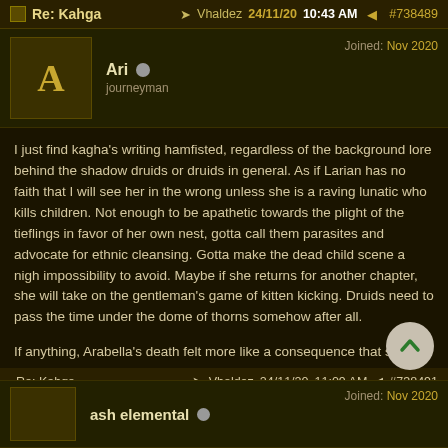Re: Kahga  →  Vhaldez  24/11/20  10:43 AM  #738489
Ari  journeyman  Joined: Nov 2020
I just find kagha's writing hamfisted, regardless of the background lore behind the shadow druids or druids in general. As if Larian has no faith that I will see her in the wrong unless she is a raving lunatic who kills children. Not enough to be apathetic towards the plight of the tieflings in favor of her own nest, gotta call them parasites and advocate for ethnic cleansing. Gotta make the dead child scene a nigh impossibility to avoid. Maybe if she returns for another chapter, she will take on the gentleman's game of kitten kicking. Druids need to pass the time under the dome of thorns somehow after all.

If anything, Arabella's death felt more like a consequence that should have cone for royally screwing up an interaction. Or perhaps the influence of an evil pc playing the devil on the shoulder. Making it this difficult to avoid seems more an encounter for the goblin camp.
Last edited by Ari; 24/11/20 10:47 AM.
Re: Kahga  →  Vhaldez  24/11/20  11:09 AM  #738491
ash elemental  Joined: Nov 2020